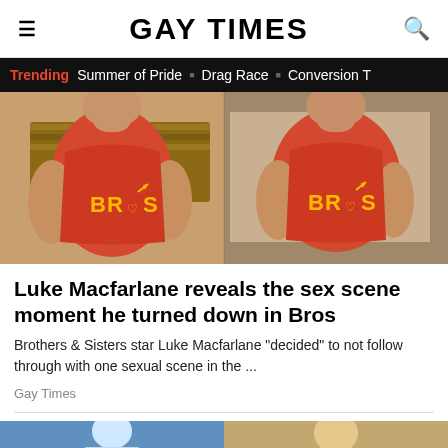GAY TIMES
Trending  Summer of Pride  ■  Drag Race  ■  Conversion T
[Figure (photo): Two muscular men wearing red sleeveless 'BROS' shirts with the movie logo, side by side]
Luke Macfarlane reveals the sex scene moment he turned down in Bros
Brothers & Sisters star Luke Macfarlane "decided" to not follow through with one sexual scene in the ...
Gay Times
[Figure (photo): Partial view of a second article image showing two people]